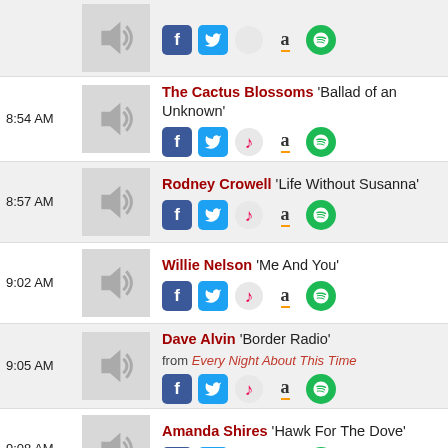[partial row top] speaker icon with social share icons
8:54 AM – The Cactus Blossoms 'Ballad of an Unknown'
8:57 AM – Rodney Crowell 'Life Without Susanna'
9:02 AM – Willie Nelson 'Me And You'
9:05 AM – Dave Alvin 'Border Radio' from Every Night About This Time
9:08 AM – Amanda Shires 'Hawk For The Dove'